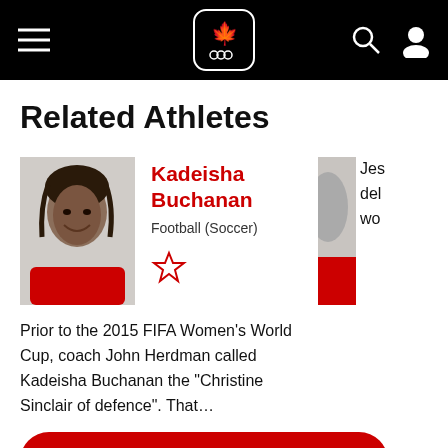Canada Olympic Committee navigation bar
Related Athletes
[Figure (photo): Headshot of Kadeisha Buchanan in red jersey]
Kadeisha Buchanan
Football (Soccer)
Prior to the 2015 FIFA Women’s World Cup, coach John Herdman called Kadeisha Buchanan the “Christine Sinclair of defence”. That…
[Figure (photo): Partial view of second athlete in red jersey]
Jes… del… wo…
VIEW ALL ATHLETES
Related S…